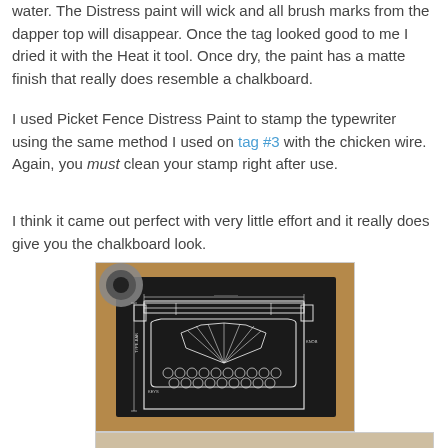water.  The Distress paint will wick and all brush marks from the dapper top will disappear.  Once the tag looked good to me I dried it with the Heat it tool.  Once dry, the paint has a matte finish that really does resemble a chalkboard.
I used Picket Fence Distress Paint to stamp the typewriter using the same method I used on tag #3 with the chicken wire.  Again, you must clean your stamp right after use.
I think it came out perfect with very little effort and it really does give you the chalkboard look.
[Figure (photo): Photo of a black chalkboard-style tag with a white typewriter stamp image on a wooden background, with a jar of paint visible in the upper left corner.]
[Figure (photo): Partial photo strip visible at bottom of page.]